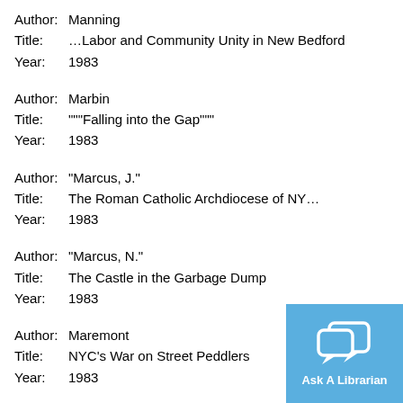Author: Manning
Title: …Labor and Community Unity in New Bedford
Year: 1983
Author: Marbin
Title: """Falling into the Gap"""
Year: 1983
Author: "Marcus, J."
Title: The Roman Catholic Archdiocese of NY…
Year: 1983
Author: "Marcus, N."
Title: The Castle in the Garbage Dump
Year: 1983
Author: Maremont
Title: NYC's War on Street Peddlers
Year: 1983
[Figure (other): Ask A Librarian chat button widget with speech bubble icons on blue background]